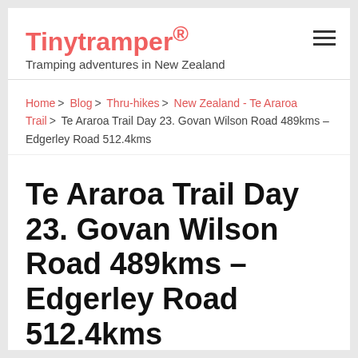Tinytramper® — Tramping adventures in New Zealand
Home > Blog > Thru-hikes > New Zealand - Te Araroa Trail > Te Araroa Trail Day 23. Govan Wilson Road 489kms – Edgerley Road 512.4kms
Te Araroa Trail Day 23. Govan Wilson Road 489kms – Edgerley Road 512.4kms
NOVEMBER 5, 2017  TINYTRAMPER  0 COMMENTS